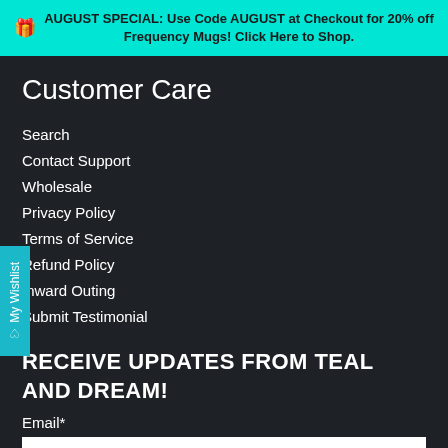AUGUST SPECIAL: Use Code AUGUST at Checkout for 20% off Frequency Mugs! Click Here to Shop.
Customer Care
Search
Contact Support
Wholesale
Privacy Policy
Terms of Service
Refund Policy
Inward Outing
Submit Testimonial
RECEIVE UPDATES FROM TEAL AND DREAM!
Email*